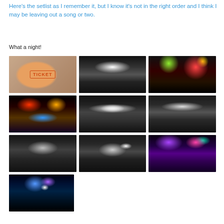Here's the setlist as I remember it, but I know it's not in the right order and I think I may be leaving out a song or two.
What a night!
[Figure (photo): Concert ticket stub]
[Figure (photo): Black and white concert crowd photo with stage lights]
[Figure (photo): Concert stage with colorful green, red, yellow lights over crowd]
[Figure (photo): Concert stage with red and orange lights over large crowd]
[Figure (photo): Black and white wide concert stage photo]
[Figure (photo): Black and white concert stage with spotlights]
[Figure (photo): Black and white concert stage photo]
[Figure (photo): Black and white concert stage with beam lights]
[Figure (photo): Concert stage with vibrant purple and pink crowd lighting]
[Figure (photo): Concert stage with blue and purple lighting]